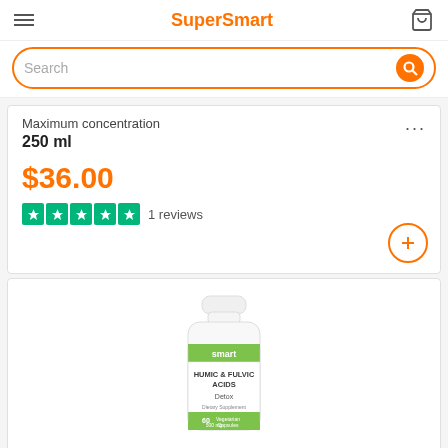SuperSmart
Maximum concentration
250 ml
$36.00
1 reviews
[Figure (photo): Supplement bottle labeled 'Humic & Fulvic Acids Detox, Dietary Supplement, 60 Vegetarian Capsules, 500 mg Per Serving' by SuperSmart]